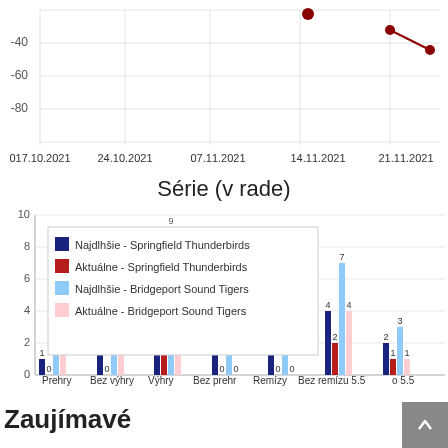[Figure (continuous-plot): Top portion of a line/scatter chart with dark red dots and connecting lines, y-axis values -40, -60, -80, x-axis dates: 017.10.2021, 24.10.2021, 07.11.2021, 14.11.2021, 21.11.2021]
Série (v rade)
[Figure (grouped-bar-chart): Série (v rade)]
Zaujímavé